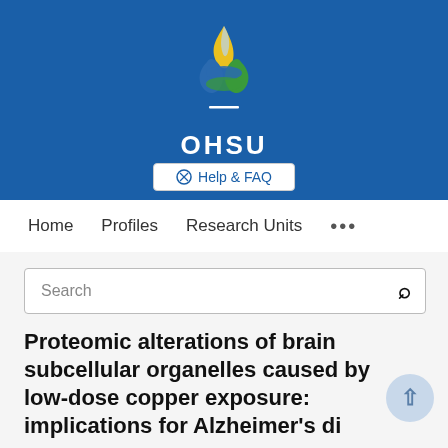[Figure (logo): OHSU (Oregon Health & Science University) logo — DNA double helix with blue, green, and yellow flame on a blue background with 'OHSU' text in white]
[Figure (screenshot): Help & FAQ button in white rounded rectangle]
Home   Profiles   Research Units   ...
[Figure (screenshot): Search bar with magnifying glass icon]
Proteomic alterations of brain subcellular organelles caused by low-dose copper exposure: implications for Alzheimer's disease